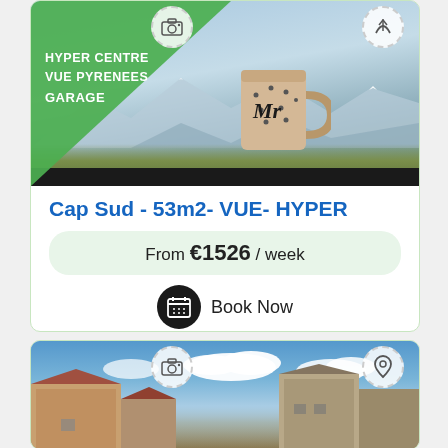[Figure (photo): Property listing card with photo of mug on windowsill with mountain/Pyrenees view, green triangle overlay with text HYPER CENTRE, VUE PYRENEES, GARAGE, camera and arrow icons in circles]
Cap Sud - 53m2- VUE- HYPER
From €1526 / week
Book Now
[Figure (photo): Second property listing photo showing old stone buildings with blue sky and clouds, camera and location pin icons in circles]